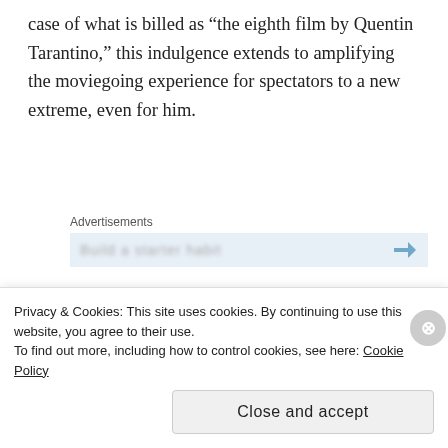case of what is billed as “the eighth film by Quentin Tarantino,” this indulgence extends to amplifying the moviegoing experience for spectators to a new extreme, even for him.
Advertisements
[Figure (other): Advertisement placeholder box with blurred text and arrow icon]
Previously, Tarantino and best friend Robert Rodriguez put on a Grindhouse program in 2007, double billing their unapologetically trashy B-
Privacy & Cookies: This site uses cookies. By continuing to use this website, you agree to their use.
To find out more, including how to control cookies, see here: Cookie Policy
Close and accept